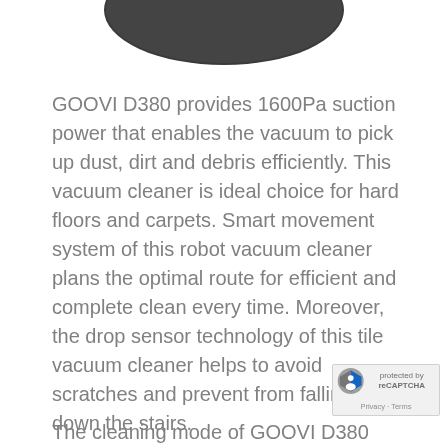[Figure (photo): Bottom portion of a robot vacuum cleaner product image, showing a dark rounded device against white background]
GOOVI D380 provides 1600Pa suction power that enables the vacuum to pick up dust, dirt and debris efficiently. This vacuum cleaner is ideal choice for hard floors and carpets. Smart movement system of this robot vacuum cleaner plans the optimal route for efficient and complete clean every time. Moreover, the drop sensor technology of this tile vacuum cleaner helps to avoid scratches and prevent from falling down the stairs.
The cleaning mode of GOOVI D380 vacuum...